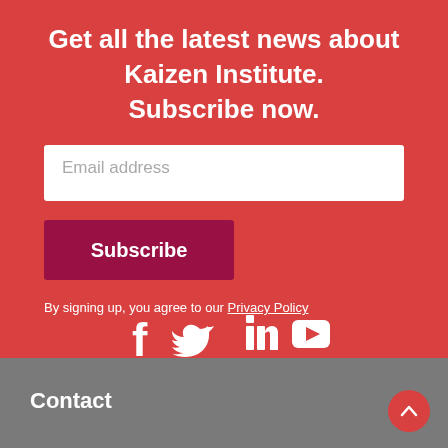Get all the latest news about Kaizen Institute. Subscribe now.
Email address
Subscribe
By signing up, you agree to our Privacy Policy
[Figure (illustration): Social media icons: Facebook, Twitter, LinkedIn, YouTube]
Contact